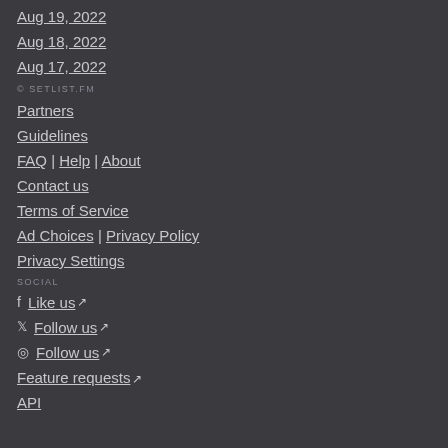Aug 19, 2022
Aug 18, 2022
Aug 17, 2022
© SETLIST.FM
Partners
Guidelines
FAQ | Help | About
Contact us
Terms of Service
Ad Choices | Privacy Policy
Privacy Settings
SOCIAL
Like us [external link]
Follow us [external link]
Follow us [external link]
Feature requests [external link]
API